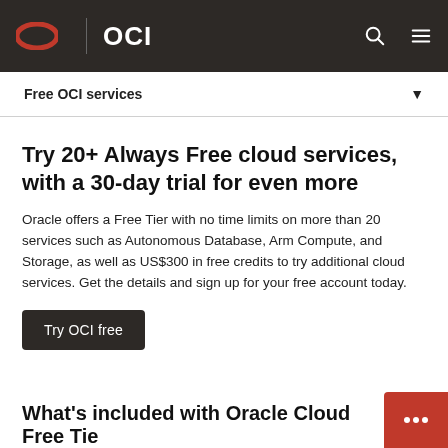OCI
Free OCI services
Try 20+ Always Free cloud services, with a 30-day trial for even more
Oracle offers a Free Tier with no time limits on more than 20 services such as Autonomous Database, Arm Compute, and Storage, as well as US$300 in free credits to try additional cloud services. Get the details and sign up for your free account today.
Try OCI free
What's included with Oracle Cloud Free Tie
2 Autonomous Databases, 20 GB each